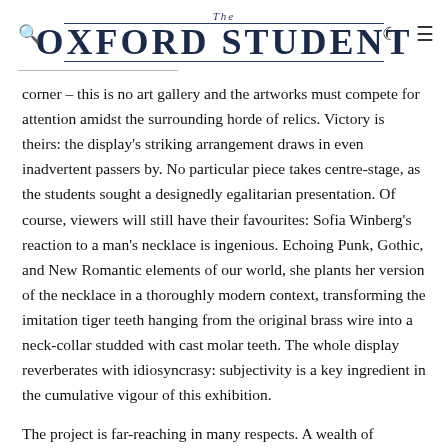The Oxford Student
corner – this is no art gallery and the artworks must compete for attention amidst the surrounding horde of relics. Victory is theirs: the display's striking arrangement draws in even inadvertent passers by. No particular piece takes centre-stage, as the students sought a designedly egalitarian presentation. Of course, viewers will still have their favourites: Sofia Winberg's reaction to a man's necklace is ingenious. Echoing Punk, Gothic, and New Romantic elements of our world, she plants her version of the necklace in a thoroughly modern context, transforming the imitation tiger teeth hanging from the original brass wire into a neck-collar studded with cast molar teeth. The whole display reverberates with idiosyncrasy: subjectivity is a key ingredient in the cumulative vigour of this exhibition.
The project is far-reaching in many respects. A wealth of research